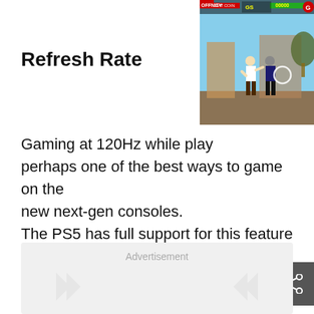Refresh Rate
[Figure (screenshot): A fighting video game screenshot showing two characters fighting in an outdoor setting with a HUD displaying TV, EAT COIN, score counters and a health bar with green fill.]
Gaming at 120Hz while playing is perhaps one of the best ways to game on the new next-gen consoles.
The PS5 has full support for this feature and has noted how to turn this on.
The blog post regarding this feature can be viewed here for further reference.
Advertisement